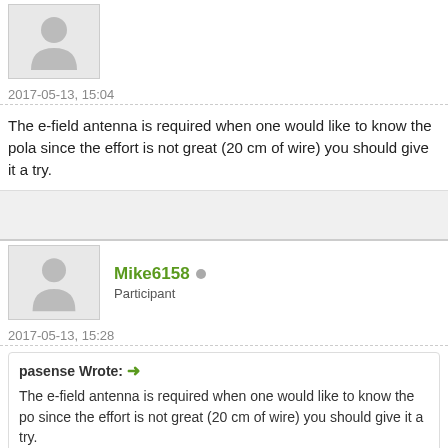[Figure (illustration): Partial avatar silhouette of a user at the top of the page (cropped)]
2017-05-13, 15:04
The e-field antenna is required when one would like to know the pola since the effort is not great (20 cm of wire) you should give it a try.
[Figure (illustration): Avatar silhouette for user Mike6158]
Mike6158 • Participant
2017-05-13, 15:28
pasense Wrote: → The e-field antenna is required when one would like to po since the effort is not great (20 cm of wire) you should give it a try.